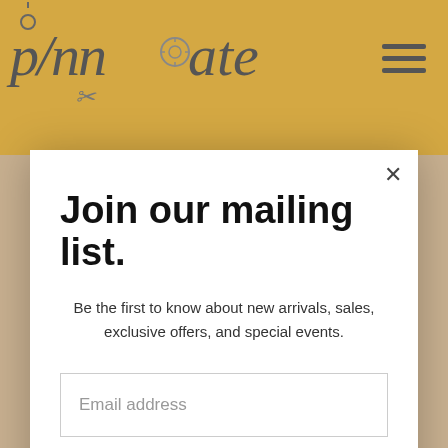[Figure (logo): Pinnovate logo in italic script font on gold background with scissors and button motifs]
Join our mailing list.
Be the first to know about new arrivals, sales, exclusive offers, and special events.
Email address
Subscribe
[Figure (photo): Craft/sewing supplies photo showing stamps, 'love' label, and Pinnovate branded items on golden background]